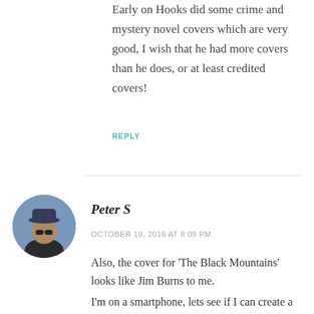Early on Hooks did some crime and mystery novel covers which are very good, I wish that he had more covers than he does, or at least credited covers!
REPLY
[Figure (photo): Circular avatar photo of a person wearing a hat and sunglasses, outdoors with a blue sky background.]
Peter S
OCTOBER 19, 2016 AT 8:09 PM
Also, the cover for ‘The Black Mountains’ looks like Jim Burns to me.
I’m on a smartphone, lets see if I can create a link